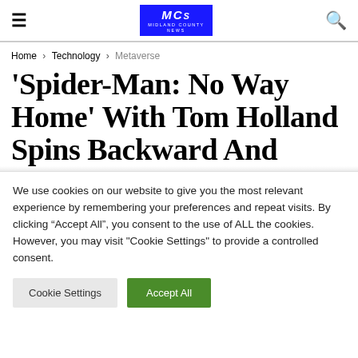≡  [Midland County News logo]  🔍
Home › Technology › Metaverse
'Spider-Man: No Way Home' With Tom Holland Spins Backward And
We use cookies on our website to give you the most relevant experience by remembering your preferences and repeat visits. By clicking "Accept All", you consent to the use of ALL the cookies. However, you may visit "Cookie Settings" to provide a controlled consent.
Cookie Settings  Accept All